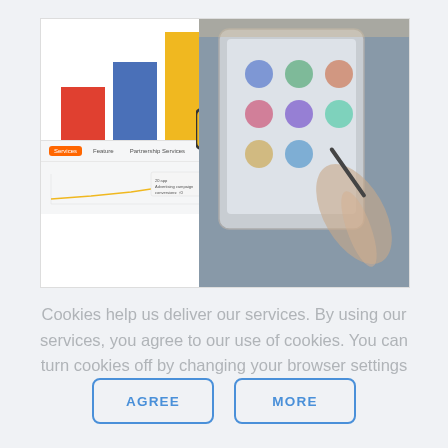[Figure (screenshot): AppMetrica logo with colored bar chart (red, blue, yellow bars) on left, handshake icon overlay in center, tablet/touchscreen photo on right, and analytics dashboard at bottom]
Cookies help us deliver our services. By using our services, you agree to our use of cookies. You can turn cookies off by changing your browser settings
AGREE
MORE